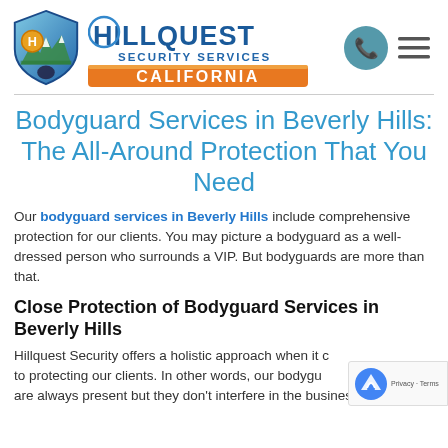[Figure (logo): Hillquest Security Services California logo with shield icon and brand name]
Bodyguard Services in Beverly Hills: The All-Around Protection That You Need
Our bodyguard services in Beverly Hills include comprehensive protection for our clients. You may picture a bodyguard as a well-dressed person who surrounds a VIP. But bodyguards are more than that.
Close Protection of Bodyguard Services in Beverly Hills
Hillquest Security offers a holistic approach when it comes to protecting our clients. In other words, our bodyguards are always present but they don't interfere in the business